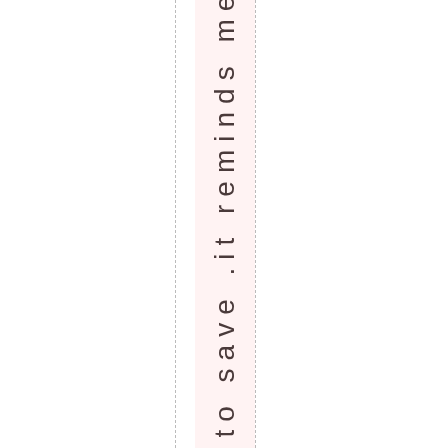osed to save .it reminds me of t